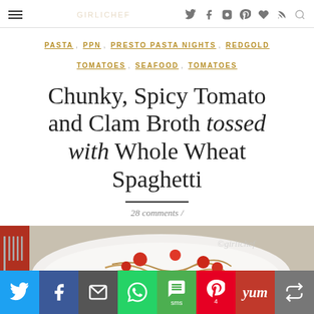≡  [site title faded]  🐦 f 📷 p ♥ ))) 🔍
PASTA , PPN , PRESTO PASTA NIGHTS , REDGOLD TOMATOES , SEAFOOD , TOMATOES
Chunky, Spicy Tomato and Clam Broth tossed with Whole Wheat Spaghetti
28 comments /
[Figure (photo): Food photo showing a bowl of spaghetti with chunky tomato and clam broth sauce, with a fork on a red mat to the left. Watermark '@girlichef' visible.]
Twitter | Facebook | Email | WhatsApp | SMS | Pinterest (4) | Yum | More